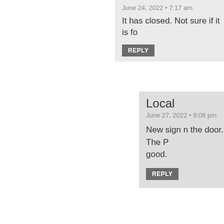June 24, 2022 • 7:17 am
It has closed. Not sure if it is fo
REPLY
Local
June 27, 2022 • 8:08 pm
New sign n the door. The P good.
REPLY
Luis Vazquez (FiDi Fan Pag
June 24, 2022 • 11:05 am
4 New York Plaza is also being conv than 3,500 NEW rental apartments a development throughout the neighb
REPLY